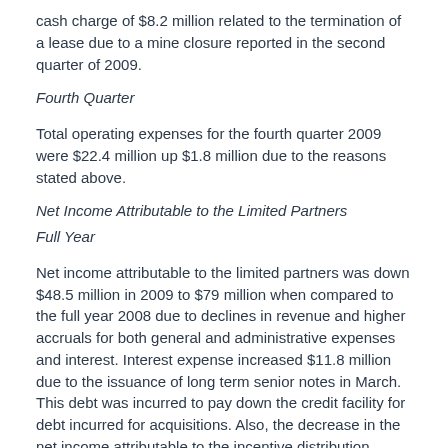cash charge of $8.2 million related to the termination of a lease due to a mine closure reported in the second quarter of 2009.
Fourth Quarter
Total operating expenses for the fourth quarter 2009 were $22.4 million up $1.8 million due to the reasons stated above.
Net Income Attributable to the Limited Partners
Full Year
Net income attributable to the limited partners was down $48.5 million in 2009 to $79 million when compared to the full year 2008 due to declines in revenue and higher accruals for both general and administrative expenses and interest. Interest expense increased $11.8 million due to the issuance of long term senior notes in March. This debt was incurred to pay down the credit facility for debt incurred for acquisitions. Also, the decrease in the net income attributable to the incentive distribution rights, which were reduced in the third and fourth quarters of 2009, increased net income attributable to the limited partners by $14.1 million or $0.21 per unit.